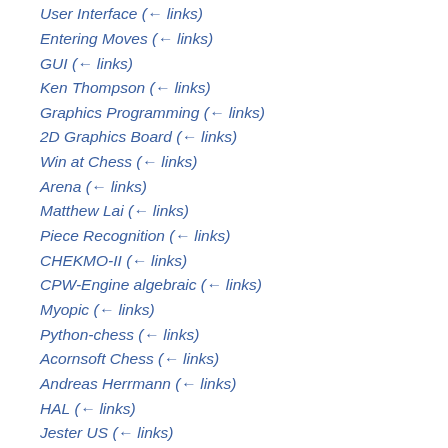User Interface  (← links)
Entering Moves  (← links)
GUI  (← links)
Ken Thompson  (← links)
Graphics Programming  (← links)
2D Graphics Board  (← links)
Win at Chess  (← links)
Arena  (← links)
Matthew Lai  (← links)
Piece Recognition  (← links)
CHEKMO-II  (← links)
CPW-Engine algebraic  (← links)
Myopic  (← links)
Python-chess  (← links)
Acornsoft Chess  (← links)
Andreas Herrmann  (← links)
HAL  (← links)
Jester US  (← links)
Atom Chess  (← links)